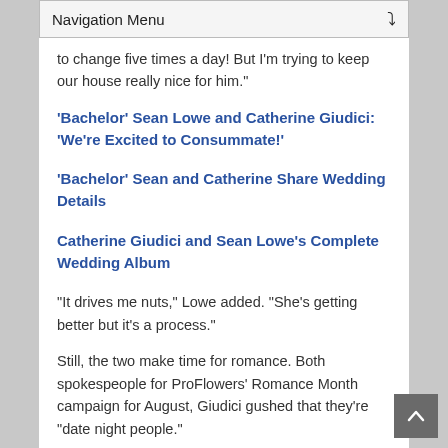Navigation Menu
to change five times a day! But I'm trying to keep our house really nice for him."
'Bachelor' Sean Lowe and Catherine Giudici: 'We're Excited to Consummate!'
'Bachelor' Sean and Catherine Share Wedding Details
Catherine Giudici and Sean Lowe's Complete Wedding Album
"It drives me nuts," Lowe added. "She's getting better but it's a process."
Still, the two make time for romance. Both spokespeople for ProFlowers' Romance Month campaign for August, Giudici gushed that they're "date night people."
"Whether it's him planning a date or me planning a date, I like to [explore] Dallas and my favorite thing to do are things he's never done," she said. "That's romantic